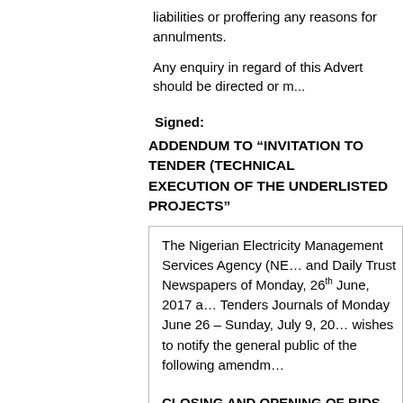liabilities or proffering any reasons for annulments.
Any enquiry in regard of this Advert should be directed or m...
Signed:
ADDENDUM TO “INVITATION TO TENDER (TECHNICAL EXECUTION OF THE UNDERLISTED PROJECTS”
The Nigerian Electricity Management Services Agency (NE... and Daily Trust Newspapers of Monday, 26th June, 2017 a... Tenders Journals of Monday June 26 – Sunday, July 9, 20... wishes to notify the general public of the following amendm...
CLOSING AND OPENING OF BIDS
The Closing date for submission of Bids has been extende... now on or before 11am, Wednesday, August 23, 2017. after the deadline for the submission at the Procurement ... es Salam Street, Wuse II Abuja.